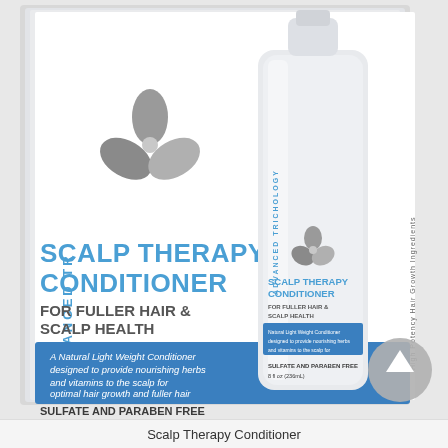[Figure (photo): Two Advanced Trichology Scalp Therapy Conditioner product bottles/boxes. Left side shows a large white box/carton with the label: ADVANCED TRICHOLOGY (vertical text), three-leaf logo, 'SCALP THERAPY CONDITIONER FOR FULLER HAIR & SCALP HEALTH', blue band with 'A Natural Light Weight Conditioner designed to provide nourishing herbs and vitamins to the scalp for optimal hair growth and fuller hair', and 'SULFATE AND PARABEN FREE 8 fl oz (236mL)'. Right side shows the actual bottle with same branding and a gray circular scroll-up arrow button overlay.]
Scalp Therapy Conditioner